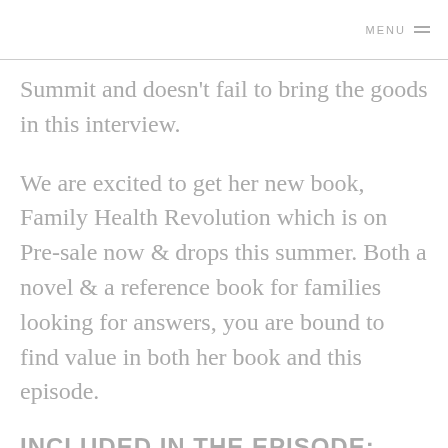MENU ≡
Summit and doesn't fail to bring the goods in this interview.
We are excited to get her new book, Family Health Revolution which is on Pre-sale now & drops this summer. Both a novel & a reference book for families looking for answers, you are bound to find value in both her book and this episode.
INCLUDED IN THE EPISODE: